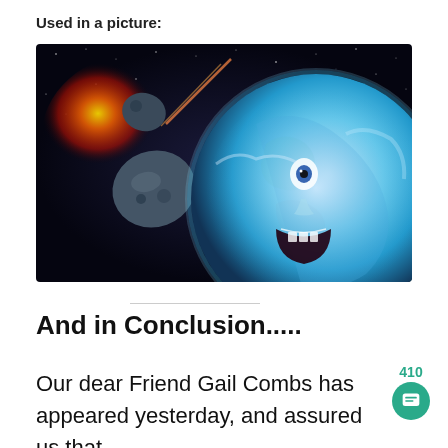Used in a picture:
[Figure (illustration): A dramatic sci-fi composite image showing asteroids/meteors approaching Earth, with a screaming human face superimposed on the Earth globe, set against a dark space background with stars and a red/orange explosion glow on the left side.]
And in Conclusion.....
Our dear Friend Gail Combs has appeared yesterday, and assured us that